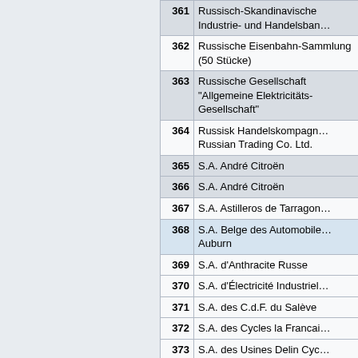| No. | Name |
| --- | --- |
| 361 | Russisch-Skandinavische Industrie- und Handelsban… |
| 362 | Russische Eisenbahn-Sammlung (50 Stücke) |
| 363 | Russische Gesellschaft "Allgemeine Elektricitäts-Gesellschaft" |
| 364 | Russisk Handelskompagn… Russian Trading Co. Ltd. |
| 365 | S.A. André Citroën |
| 366 | S.A. André Citroën |
| 367 | S.A. Astilleros de Tarragon… |
| 368 | S.A. Belge des Automobile… Auburn |
| 369 | S.A. d'Anthracite Russe |
| 370 | S.A. d'Électricité Industriel… |
| 371 | S.A. des C.d.F. du Salève |
| 372 | S.A. des Cycles la Francai… |
| 373 | S.A. des Usines Delin Cyc… Automobiles Moteurs |
| 374 | S.A. du Charbonnage de Longterne-Ferrand |
| 375 | S.A. du Petit Journal |